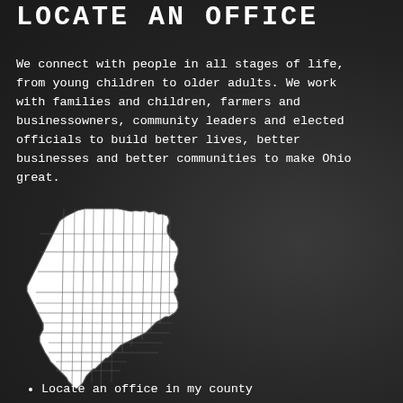LOCATE AN OFFICE
We connect with people in all stages of life, from young children to older adults. We work with families and children, farmers and businessowners, community leaders and elected officials to build better lives, better businesses and better communities to make Ohio great.
[Figure (map): White outline map of Ohio showing county boundaries on dark background]
Locate an office in my county